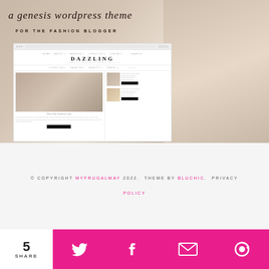[Figure (screenshot): Screenshot of a Genesis WordPress theme called 'DAZZLING' for the fashion blogger, showing a blog layout with a large main post image of a woman, sidebar with smaller posts, navigation, and a pink/black color scheme. Overlaid on a lifestyle photo background.]
a genesis wordpress theme FOR THE FASHION BLOGGER
© COPYRIGHT MYFRUGALWAY 2022. THEME BY BLUCHIC. PRIVACY POLICY
5 SHARE